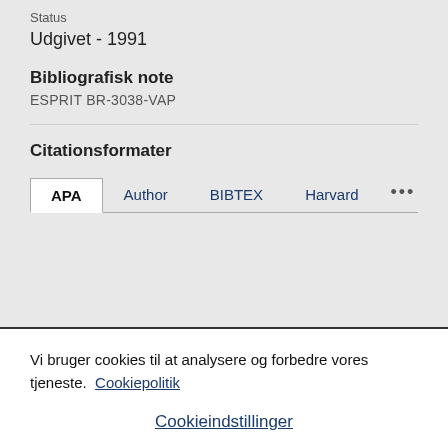Status
Udgivet - 1991
Bibliografisk note
ESPRIT BR-3038-VAP
Citationsformater
APA  Author  BIBTEX  Harvard  ...
Vi bruger cookies til at analysere og forbedre vores tjeneste. Cookiepolitik
Cookieindstillinger